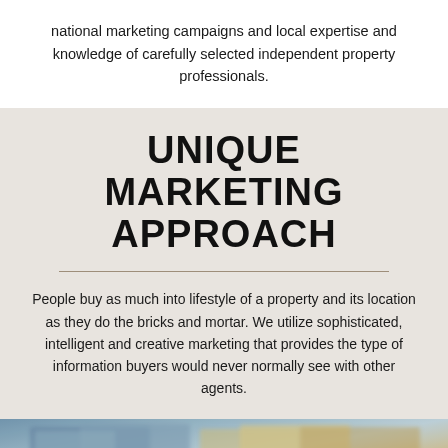national marketing campaigns and local expertise and knowledge of carefully selected independent property professionals.
UNIQUE MARKETING APPROACH
People buy as much into lifestyle of a property and its location as they do the bricks and mortar. We utilize sophisticated, intelligent and creative marketing that provides the type of information buyers would never normally see with other agents.
[Figure (photo): Blurred photo showing printed property marketing materials/brochures]